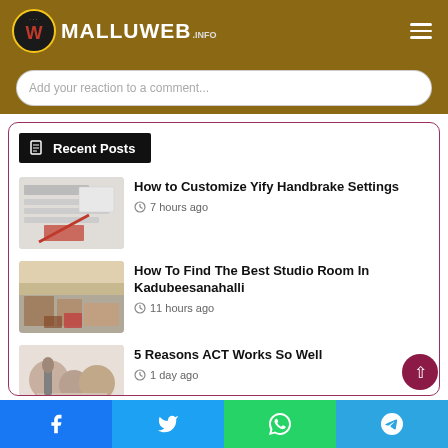MALLUWEB.INFO
Add your reaction to a comment...
Recent Posts
How to Customize Yify Handbrake Settings — 7 hours ago
How To Find The Best Studio Room In Kadubeesanahalli — 11 hours ago
5 Reasons ACT Works So Well — 1 day ago
Facebook | Twitter | WhatsApp | Telegram